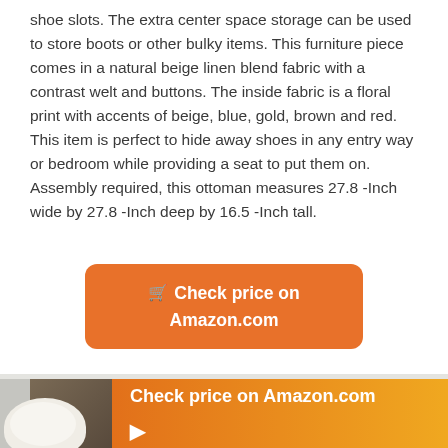shoe slots. The extra center space storage can be used to store boots or other bulky items. This furniture piece comes in a natural beige linen blend fabric with a contrast welt and buttons. The inside fabric is a floral print with accents of beige, blue, gold, brown and red. This item is perfect to hide away shoes in any entry way or bedroom while providing a seat to put them on. Assembly required, this ottoman measures 27.8 -Inch wide by 27.8 -Inch deep by 16.5 -Inch tall.
[Figure (other): Orange rounded button with shopping cart icon and text 'Check price on Amazon.com']
[Figure (other): Bottom section showing a photo of a white ottoman/storage item with an orange gradient overlay containing 'Check price on Amazon.com' text and a play button]